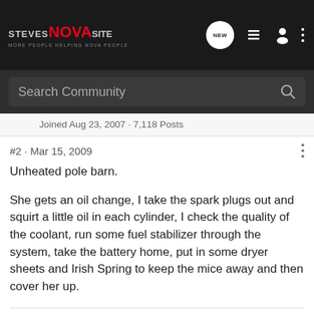Steves NOVA Site - NEW [icons]
Search Community
Joined Aug 23, 2007 · 7,118 Posts
#2 · Mar 15, 2009
Unheated pole barn.
She gets an oil change, I take the spark plugs out and squirt a little oil in each cylinder, I check the quality of the coolant, run some fuel stabilizer through the system, take the battery home, put in some dryer sheets and Irish Spring to keep the mice away and then cover her up.
Stuart not Stu